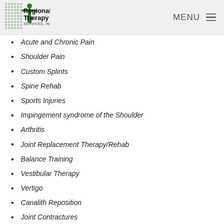Regional Therapy Services, Inc. — MENU
Acute and Chronic Pain
Shoulder Pain
Custom Splints
Spine Rehab
Sports Injuries
Impingement syndrome of the Shoulder
Arthritis
Joint Replacement Therapy/Rehab
Balance Training
Vestibular Therapy
Vertigo
Canalith Reposition
Joint Contractures